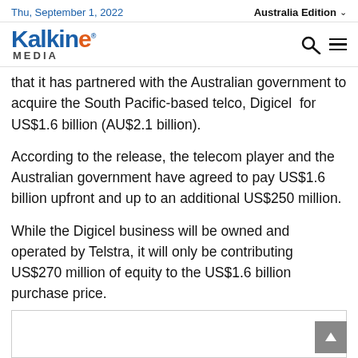Thu, September 1, 2022 | Australia Edition
[Figure (logo): Kalkine Media logo with blue and orange lettering]
that it has partnered with the Australian government to acquire the South Pacific-based telco, Digicel for US$1.6 billion (AU$2.1 billion).
According to the release, the telecom player and the Australian government have agreed to pay US$1.6 billion upfront and up to an additional US$250 million.
While the Digicel business will be owned and operated by Telstra, it will only be contributing US$270 million of equity to the US$1.6 billion purchase price.
[Figure (other): Advertisement box at bottom of page]